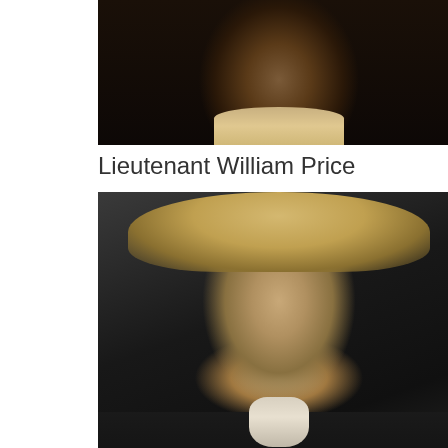[Figure (photo): Partial photo of a person in period costume with a high collar, dark background, cropped at top of page]
Lieutenant William Price
[Figure (photo): Photo of a young person with light blonde hair, wearing a dark period jacket and white cravat, looking downward]
M'man William Thorpe*
*From NA, Chapter 4: “Mrs. Thorpe, however, had one great advantage as a talker, over Mrs. Allen, in a family of children; and when she expatiated on the talents of her sons, and the beauty of her daughters, when she related their different situations and views — that John was at Oxford, Edward at Merchant